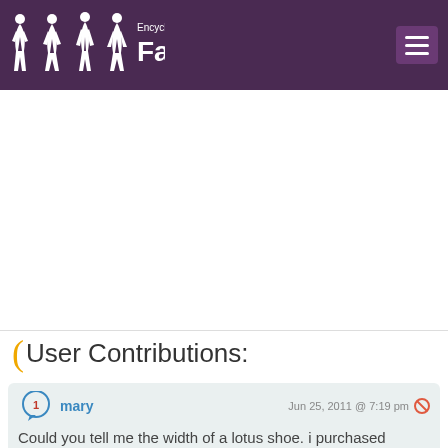Encyclopedia of Fashion
User Contributions:
mary  Jun 25, 2011 @ 7:19 pm
Could you tell me the width of a lotus shoe. i purchased